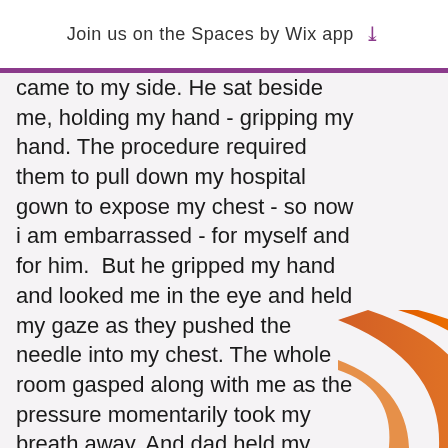Join us on the Spaces by Wix app
came to my side. He sat beside me, holding my hand - gripping my hand. The procedure required them to pull down my hospital gown to expose my chest - so now i am embarrassed - for myself and for him.  But he gripped my hand and looked me in the eye and held my gaze as they pushed the needle into my chest. The whole room gasped along with me as the pressure momentarily took my breath away. And dad held my hand.

Then there was another hospital room where my son lay - nothing serious - just a giant blood clot on his tongue that had formed overnight after he bit into it playing on the